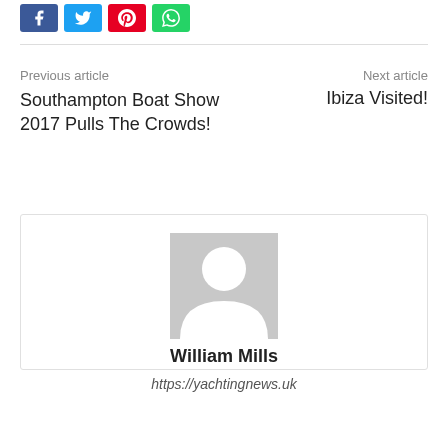[Figure (other): Social sharing icon buttons: Facebook (blue), Twitter (light blue), Pinterest (red), WhatsApp (green)]
Previous article
Southampton Boat Show 2017 Pulls The Crowds!
Next article
Ibiza Visited!
[Figure (photo): Default user avatar placeholder (grey background with white silhouette of a person)]
William Mills
https://yachtingnews.uk